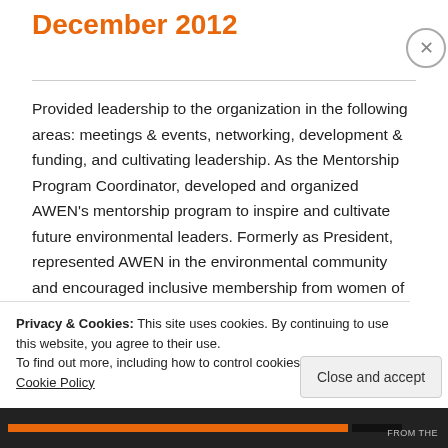December 2012
Provided leadership to the organization in the following areas: meetings & events, networking, development & funding, and cultivating leadership. As the Mentorship Program Coordinator, developed and organized AWEN's mentorship program to inspire and cultivate future environmental leaders. Formerly as President, represented AWEN in the environmental community and encouraged inclusive membership from women of
Privacy & Cookies: This site uses cookies. By continuing to use this website, you agree to their use.
To find out more, including how to control cookies, see here: Cookie Policy